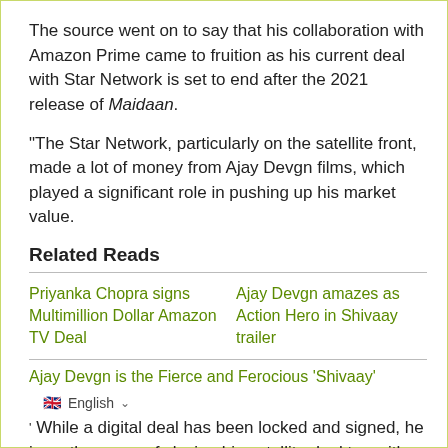The source went on to say that his collaboration with Amazon Prime came to fruition as his current deal with Star Network is set to end after the 2021 release of Maidaan.
"The Star Network, particularly on the satellite front, made a lot of money from Ajay Devgn films, which played a significant role in pushing up his market value.
Related Reads
Priyanka Chopra signs Multimillion Dollar Amazon TV Deal
Ajay Devgn amazes as Action Hero in Shivaay trailer
Ajay Devgn is the Fierce and Ferocious 'Shivaay'
While a digital deal has been locked and signed, he is on the verge of closing his satellite deal too with a leading channel, the details of which have been kept...